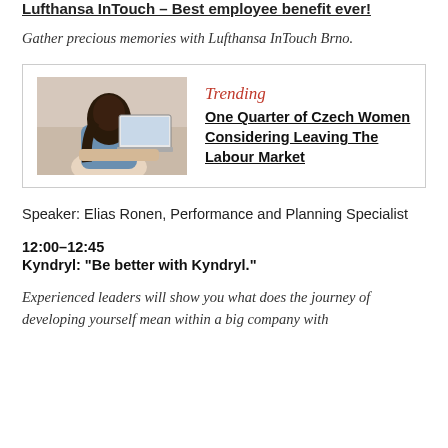Lufthansa InTouch – Best employee benefit ever!
Gather precious memories with Lufthansa InTouch Brno.
[Figure (photo): Woman seen from behind working on a laptop, with a 'Trending' label and article headline: One Quarter of Czech Women Considering Leaving The Labour Market]
Speaker: Elias Ronen, Performance and Planning Specialist
12:00–12:45
Kyndryl: "Be better with Kyndryl."
Experienced leaders will show you what does the journey of developing yourself mean within a big company with